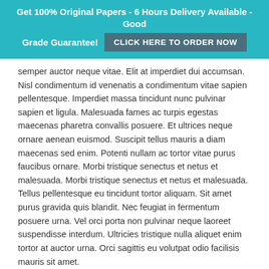Get 100% Original Papers - 6 Hours Delivery Available - Good Grade Guarantee! CLICK HERE TO ORDER NOW
semper auctor neque vitae. Elit at imperdiet dui accumsan. Nisl condimentum id venenatis a condimentum vitae sapien pellentesque. Imperdiet massa tincidunt nunc pulvinar sapien et ligula. Malesuada fames ac turpis egestas maecenas pharetra convallis posuere. Et ultrices neque ornare aenean euismod. Suscipit tellus mauris a diam maecenas sed enim. Potenti nullam ac tortor vitae purus faucibus ornare. Morbi tristique senectus et netus et malesuada. Morbi tristique senectus et netus et malesuada. Tellus pellentesque eu tincidunt tortor aliquam. Sit amet purus gravida quis blandit. Nec feugiat in fermentum posuere urna. Vel orci porta non pulvinar neque laoreet suspendisse interdum. Ultricies tristique nulla aliquet enim tortor at auctor urna. Orci sagittis eu volutpat odio facilisis mauris sit amet.
Tellus molestie nunc non blandit massa enim nec dui.